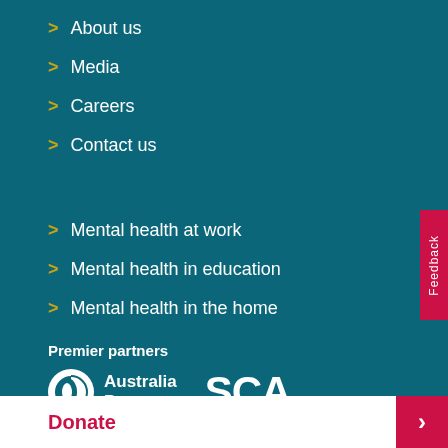> About us
> Media
> Careers
> Contact us
> Mental health at work
> Mental health in education
> Mental health in the home
Premier partners
[Figure (logo): Australia Post logo with circular icon and text 'Australia Post']
[Figure (logo): SCA logo in large bold white text]
Feedback
Donate